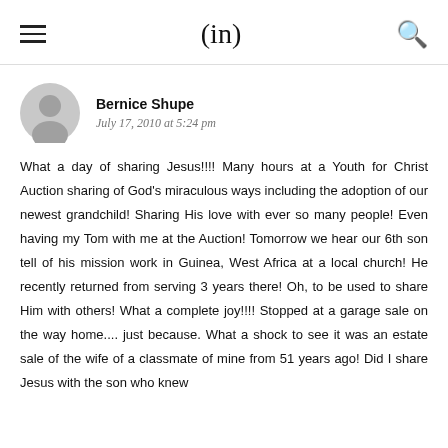(in)
Bernice Shupe
July 17, 2010 at 5:24 pm
What a day of sharing Jesus!!!! Many hours at a Youth for Christ Auction sharing of God's miraculous ways including the adoption of our newest grandchild! Sharing His love with ever so many people! Even having my Tom with me at the Auction! Tomorrow we hear our 6th son tell of his mission work in Guinea, West Africa at a local church! He recently returned from serving 3 years there! Oh, to be used to share Him with others! What a complete joy!!!! Stopped at a garage sale on the way home.... just because. What a shock to see it was an estate sale of the wife of a classmate of mine from 51 years ago! Did I share Jesus with the son who knew